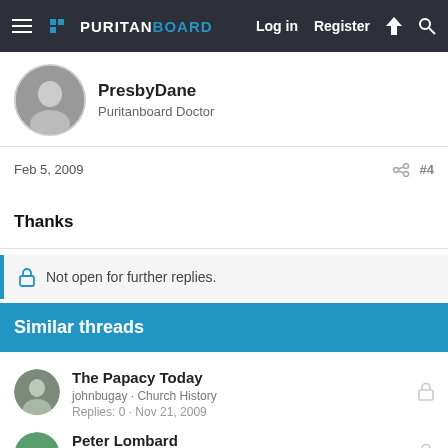PURITANBOARD — Log in  Register
PresbyDane
Puritanboard Doctor
Feb 5, 2009  #4
Thanks
Not open for further replies.
Similar threads
The Papacy Today
johnbugay · Church History
Replies: 0 · Nov 21, 2009
Peter Lombard
Mayflower · Church History